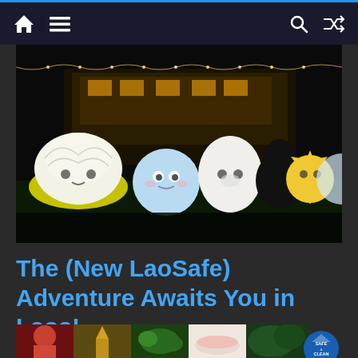Navigation bar with home icon, menu icon, search icon, shuffle icon
[Figure (photo): Night scene with illuminated cartoon character lanterns (turtle, round blue character, bear, sun character, moon) displayed outdoors in front of a lit building. Silhouette of a person visible in the foreground.]
The (New LaoSafe) Adventure Awaits You in Laos!
[Figure (photo): Bottom strip showing partial images: person in red, golden temple/stupa, green vegetables, bowl of food, green foliage, and a Safe & Clean badge overlay.]